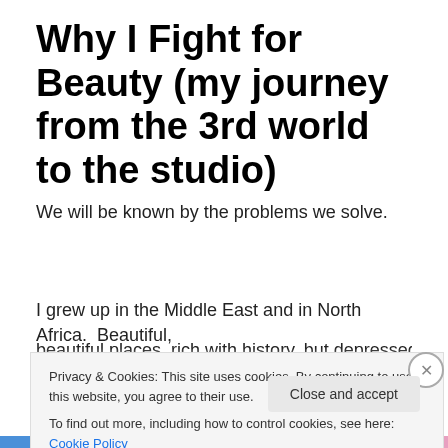Why I Fight for Beauty (my journey from the 3rd world to the studio)
We will be known by the problems we solve.
I grew up in the Middle East and in North Africa.  Beautiful, beautiful places, rich with history, but depressed with
Privacy & Cookies: This site uses cookies. By continuing to use this website, you agree to their use.
To find out more, including how to control cookies, see here: Cookie Policy